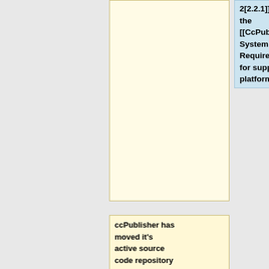2[2.2.1]].  See the [[CcPublisher System Requirements]] for supported platforms.
ccPublisher has moved it's active source code repository from [http://sf.net/projects/cctools SourceForge.net] to [http://developer.berlios.de/projects/cctools Berlios.de].  For details on CC projects at